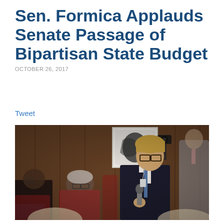Sen. Formica Applauds Senate Passage of Bipartisan State Budget
OCTOBER 26, 2017
Tweet
[Figure (photo): A senator standing and speaking into a microphone in a wood-paneled legislative chamber, wearing a dark suit. Several colleagues seated in red chairs visible in the foreground and background.]